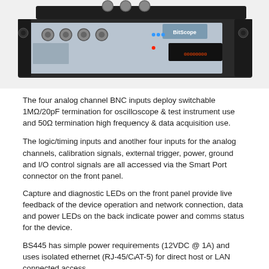[Figure (photo): Photo of a rack-mounted BS445 oscilloscope/data acquisition device showing front panel with BNC connectors, display, and controls on a black rack unit chassis.]
The four analog channel BNC inputs deploy switchable 1MΩ/20pF termination for oscilloscope & test instrument use and 50Ω termination high frequency & data acquisition use.
The logic/timing inputs and another four inputs for the analog channels, calibration signals, external trigger, power, ground and I/O control signals are all accessed via the Smart Port connector on the front panel.
Capture and diagnostic LEDs on the front panel provide live feedback of the device operation and network connection, data and power LEDs on the back indicate power and comms status for the device.
BS445 has simple power requirements (12VDC @ 1A) and uses isolated ethernet (RJ-45/CAT-5) for direct host or LAN connected access.
Standard IP protocols are used for universal networkable connectivity for the operator.